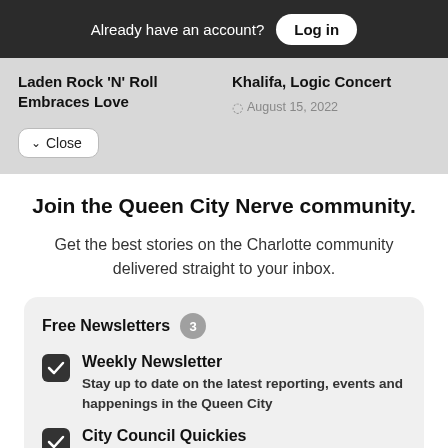Already have an account? Log in
Laden Rock 'N' Roll Embraces Love
Khalifa, Logic Concert
August 15, 2022
Close
Join the Queen City Nerve community.
Get the best stories on the Charlotte community delivered straight to your inbox.
Free Newsletters 3
Weekly Newsletter
Stay up to date on the latest reporting, events and happenings in the Queen City
City Council Quickies